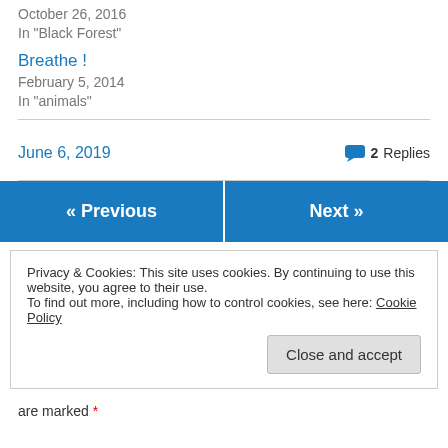October 26, 2016
In "Black Forest"
Breathe !
February 5, 2014
In "animals"
June 6, 2019
2 Replies
« Previous
Next »
Privacy & Cookies: This site uses cookies. By continuing to use this website, you agree to their use.
To find out more, including how to control cookies, see here: Cookie Policy
Close and accept
are marked *